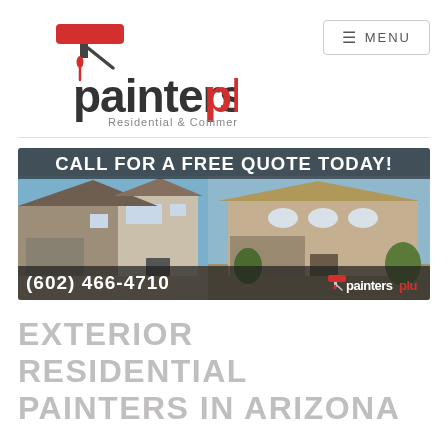[Figure (logo): Painters Plus logo with paint roller icon, text 'painters' in dark gray and 'plus' in red, subtitle 'Residential & Commercial']
[Figure (screenshot): Navigation menu button with hamburger icon and 'MENU' text]
[Figure (photo): Banner image with two Arizona residential homes, text overlay 'CALL FOR A FREE QUOTE TODAY!', phone number '(602) 466-4710', and Painters Plus logo]
EXTERIOR RESIDENTIAL PAINTERS IN ARIZONA